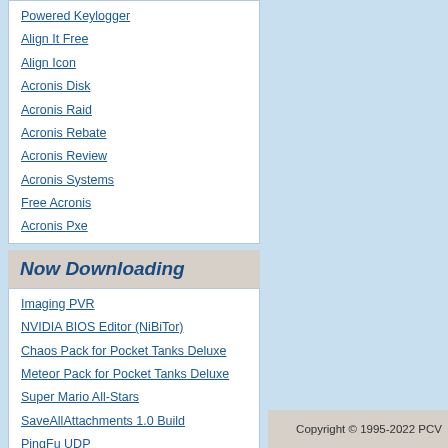Powered Keylogger
Align It Free
Align Icon
Acronis Disk
Acronis Raid
Acronis Rebate
Acronis Review
Acronis Systems
Free Acronis
Acronis Pxe
Now Downloading
Imaging PVR
NVIDIA BIOS Editor (NiBiTor)
Chaos Pack for Pocket Tanks Deluxe
Meteor Pack for Pocket Tanks Deluxe
Super Mario All-Stars
SaveAllAttachments 1.0 Build
PingFu UDP
PSoC Programmer
Geochemical Data Toolkit (GCDkit)
BN+ Brute Force Hash Attacker
Copyright © 1995-2022 PCV